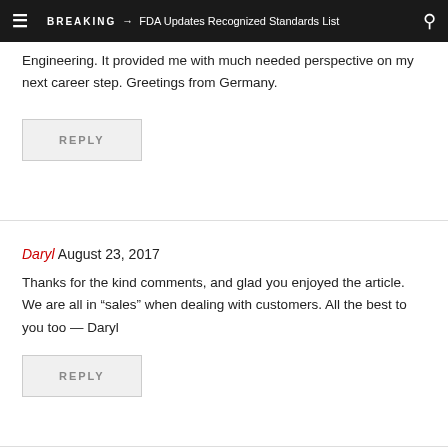BREAKING → FDA Updates Recognized Standards List
Engineering. It provided me with much needed perspective on my next career step. Greetings from Germany.
REPLY
Daryl August 23, 2017
Thanks for the kind comments, and glad you enjoyed the article. We are all in “sales” when dealing with customers. All the best to you too — Daryl
REPLY